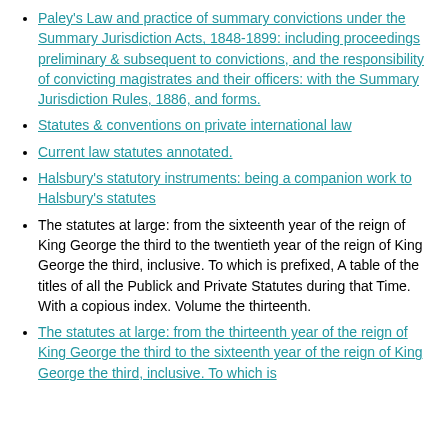Paley's Law and practice of summary convictions under the Summary Jurisdiction Acts, 1848-1899: including proceedings preliminary & subsequent to convictions, and the responsibility of convicting magistrates and their officers: with the Summary Jurisdiction Rules, 1886, and forms.
Statutes & conventions on private international law
Current law statutes annotated.
Halsbury's statutory instruments: being a companion work to Halsbury's statutes
The statutes at large: from the sixteenth year of the reign of King George the third to the twentieth year of the reign of King George the third, inclusive. To which is prefixed, A table of the titles of all the Publick and Private Statutes during that Time. With a copious index. Volume the thirteenth.
The statutes at large: from the thirteenth year of the reign of King George the third to the sixteenth year of the reign of King George the third, inclusive. To which is